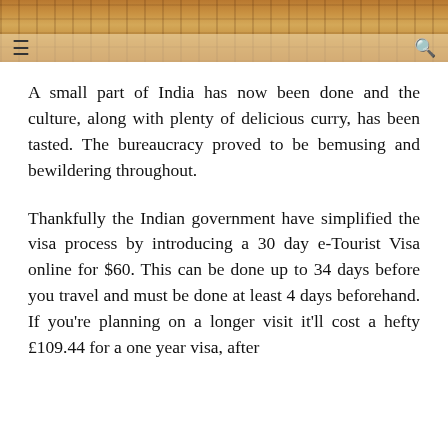[Figure (photo): Header image of an Indian monument (likely Red Fort or similar), with warm orange-brown tones, with a navigation bar overlay showing hamburger menu icon on left and search icon on right]
A small part of India has now been done and the culture, along with plenty of delicious curry, has been tasted. The bureaucracy proved to be bemusing and bewildering throughout.
Thankfully the Indian government have simplified the visa process by introducing a 30 day e-Tourist Visa online for $60. This can be done up to 34 days before you travel and must be done at least 4 days beforehand. If you're planning on a longer visit it'll cost a hefty £109.44 for a one year visa, after